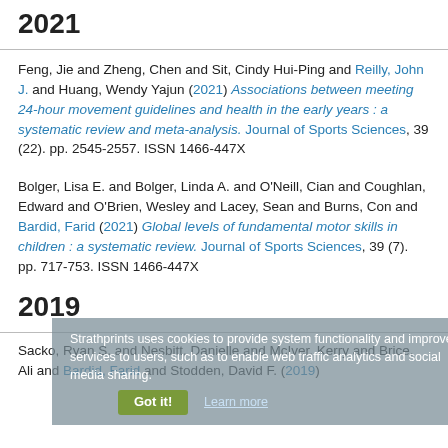2021
Feng, Jie and Zheng, Chen and Sit, Cindy Hui-Ping and Reilly, John J. and Huang, Wendy Yajun (2021) Associations between meeting 24-hour movement guidelines and health in the early years : a systematic review and meta-analysis. Journal of Sports Sciences, 39 (22). pp. 2545-2557. ISSN 1466-447X
Bolger, Lisa E. and Bolger, Linda A. and O'Neill, Cian and Coughlan, Edward and O'Brien, Wesley and Lacey, Sean and Burns, Con and Bardid, Farid (2021) Global levels of fundamental motor skills in children : a systematic review. Journal of Sports Sciences, 39 (7). pp. 717-753. ISSN 1466-447X
2019
Sacko, Ryan S. and Nesbitt, Danielle and McIver, Kerry and Brice, Ali and Bardid, Farid and Stodden, David F. (2019)